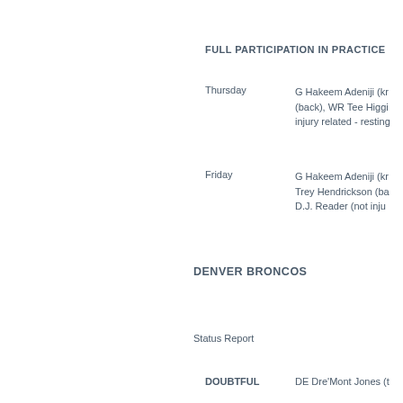FULL PARTICIPATION IN PRACTICE
Thursday   G Hakeem Adeniji (kn (back), WR Tee Higgi injury related - resting
Friday   G Hakeem Adeniji (kr Trey Hendrickson (ba D.J. Reader (not inju
DENVER BRONCOS
Status Report
DOUBTFUL   DE Dre'Mont Jones (t